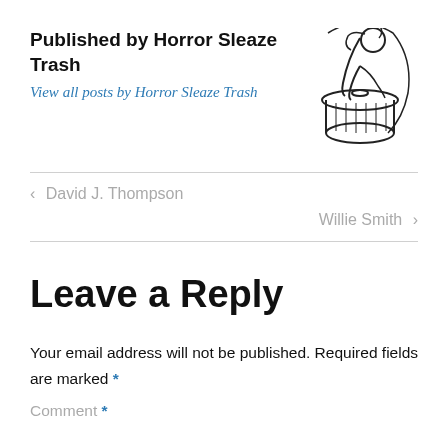Published by Horror Sleaze Trash
[Figure (logo): Horror Sleaze Trash logo: illustration of a woman figure emerging from or hanging over a trash can, black line art on white background]
View all posts by Horror Sleaze Trash
< David J. Thompson
Willie Smith >
Leave a Reply
Your email address will not be published. Required fields are marked *
Comment *